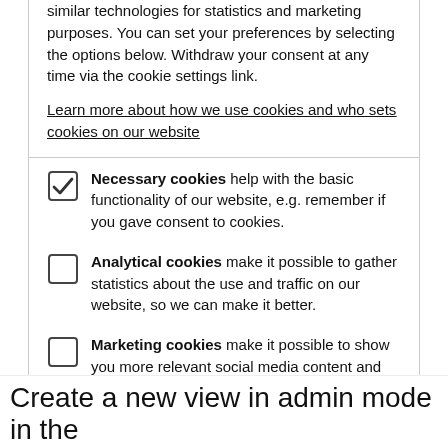similar technologies for statistics and marketing purposes. You can set your preferences by selecting the options below. Withdraw your consent at any time via the cookie settings link.
Learn more about how we use cookies and who sets cookies on our website
Necessary cookies help with the basic functionality of our website, e.g. remember if you gave consent to cookies.
Analytical cookies make it possible to gather statistics about the use and traffic on our website, so we can make it better.
Marketing cookies make it possible to show you more relevant social media content and advertisements on our website and other platforms.
Accept necessary | Accept all
Create a new view in admin mode in the